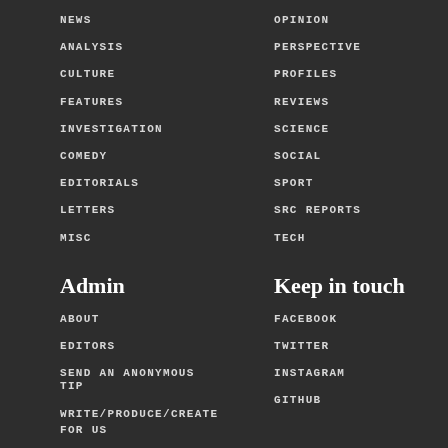NEWS
OPINION
ANALYSIS
PERSPECTIVE
CULTURE
PROFILES
FEATURES
REVIEWS
INVESTIGATION
SCIENCE
COMEDY
SOCIAL
EDITORIALS
SPORT
LETTERS
SRC REPORTS
MISC
TECH
Admin
Keep in touch
ABOUT
FACEBOOK
EDITORS
TWITTER
SEND AN ANONYMOUS TIP
INSTAGRAM
WRITE/PRODUCE/CREATE FOR US
GITHUB
PRINT EDITION